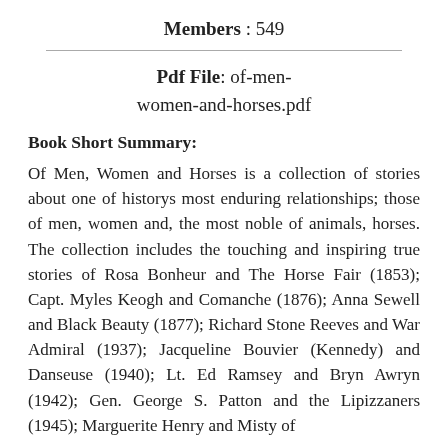Members : 549
Pdf File: of-men-women-and-horses.pdf
Book Short Summary:
Of Men, Women and Horses is a collection of stories about one of historys most enduring relationships; those of men, women and, the most noble of animals, horses. The collection includes the touching and inspiring true stories of Rosa Bonheur and The Horse Fair (1853); Capt. Myles Keogh and Comanche (1876); Anna Sewell and Black Beauty (1877); Richard Stone Reeves and War Admiral (1937); Jacqueline Bouvier (Kennedy) and Danseuse (1940); Lt. Ed Ramsey and Bryn Awryn (1942); Gen. George S. Patton and the Lipizzaners (1945); Marguerite Henry and Misty of